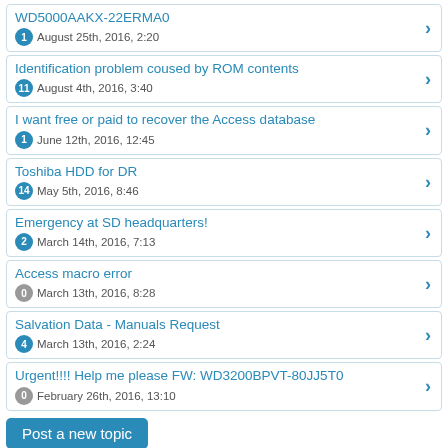WD5000AAKX-22ERMA0 | 1 | August 25th, 2016, 2:20
Identification problem coused by ROM contents | 11 | August 4th, 2016, 3:40
I want free or paid to recover the Access database | 1 | June 12th, 2016, 12:45
Toshiba HDD for DR | 14 | May 5th, 2016, 8:46
Emergency at SD headquarters! | 2 | March 14th, 2016, 7:13
Access macro error | 0 | March 13th, 2016, 8:28
Salvation Data - Manuals Request | 4 | March 13th, 2016, 2:24
Urgent!!!! Help me please FW: WD3200BPVT-80JJ5T0 | 0 | February 26th, 2016, 13:10
Post a new topic
Jump to: SalvationData support forum  Go